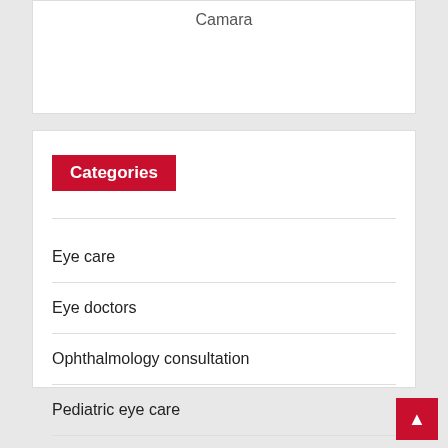Camara
Categories
Eye care
Eye doctors
Ophthalmology consultation
Pediatric eye care